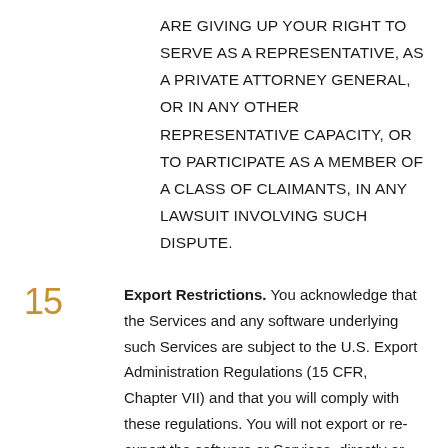ARE GIVING UP YOUR RIGHT TO SERVE AS A REPRESENTATIVE, AS A PRIVATE ATTORNEY GENERAL, OR IN ANY OTHER REPRESENTATIVE CAPACITY, OR TO PARTICIPATE AS A MEMBER OF A CLASS OF CLAIMANTS, IN ANY LAWSUIT INVOLVING SUCH DISPUTE.
15  Export Restrictions. You acknowledge that the Services and any software underlying such Services are subject to the U.S. Export Administration Regulations (15 CFR, Chapter VII) and that you will comply with these regulations. You will not export or re-export the software or Services, directly or indirectly, to: (1) any countries that are subject to U.S. export